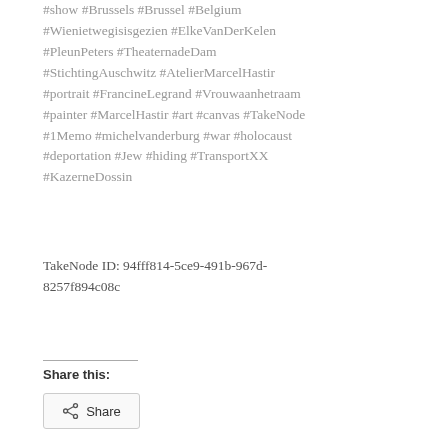#show #Brussels #Brussel #Belgium #Wienietwegisisgezien #ElkeVanDerKelen #PleunPeters #TheaternadeDam #StichtingAuschwitz #AtelierMarcelHastir #portrait #FrancineLegrand #Vrouwaanhetraam #painter #MarcelHastir #art #canvas #TakeNode #1Memo #michelvanderburg #war #holocaust #deportation #Jew #hiding #TransportXX #KazerneDossin
TakeNode ID: 94fff814-5ce9-491b-967d-8257f894c08c
Share this:
Share